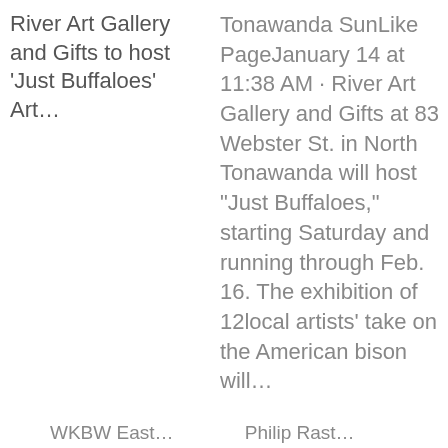River Art Gallery and Gifts to host ‘Just Buffaloes’ Art...
Tonawanda SunLike PageJanuary 14 at 11:38 AM · River Art Gallery and Gifts at 83 Webster St. in North Tonawanda will host “Just Buffaloes,” starting Saturday and running through Feb. 16. The exhibition of 12local artists’ take on the American bison will...
WKBW East...
Philip Rast...